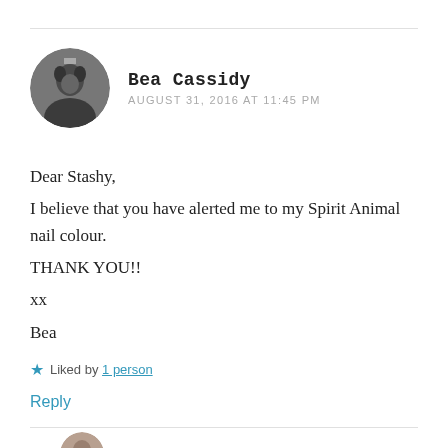[Figure (photo): Circular avatar photo of a person in black and white]
Bea Cassidy
AUGUST 31, 2016 AT 11:45 PM
Dear Stashy,
I believe that you have alerted me to my Spirit Animal nail colour.
THANK YOU!!
xx
Bea
★ Liked by 1 person
Reply